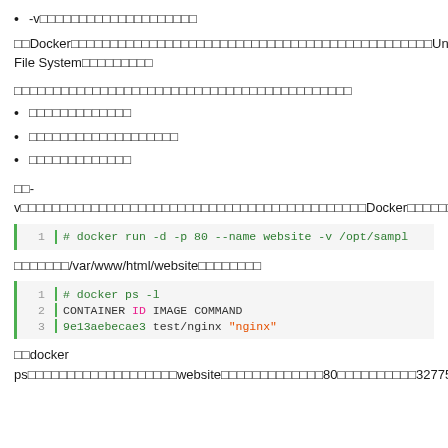-v□□□□□□□□□□□□□□□□□□□□
□□Docker□□□□□□□□□□□□□□□□□□□□□□□□□□□□□□□□□□□□□□□□□□□□□□Union File System□□□□□□□□□
□□□□□□□□□□□□□□□□□□□□□□□□□□□□□□□□□□□□□□□□□□□
□□□□□□□□□□□□□
□□□□□□□□□□□□□□□□□□□
□□□□□□□□□□□□□
□□-v□□□□□□□□□□□□□□□□□□□□□□□□□□□□□□□□□□□□□□□□□□□Docker□□□□□□□□□□□□□□□□□□□□□□
[Figure (screenshot): Code block showing: # docker run -d -p 80 --name website -v /opt/sampl]
□□□□□□□/var/www/html/website□□□□□□□□
[Figure (screenshot): Code block showing docker ps -l output with 3 lines: line 1: # docker ps -l, line 2: CONTAINER ID  IMAGE  COMMAND, line 3: 9e13aebecae3  test/nginx  "nginx"]
□□docker ps□□□□□□□□□□□□□□□□□□□website□□□□□□□□□□□□□80□□□□□□□□□□32775□□□